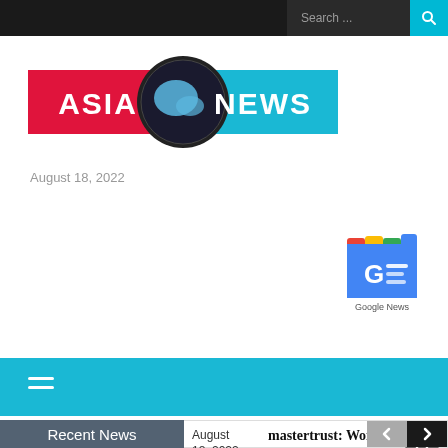Search ...
[Figure (logo): Asia News logo with globe icon, red background for ASIA text and blue background for NEWS text]
August 18, 2022
[Figure (logo): Google News app icon with GE logo and multicolor tabs on top]
[Figure (other): Cyan navigation bar with hamburger/menu icon lines]
Recent News
August 18, 2022
mastertrust: Women Mastering Finances The Trusted Way